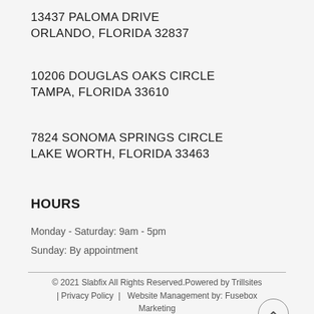13437 PALOMA DRIVE
ORLANDO, FLORIDA 32837
10206 DOUGLAS OAKS CIRCLE
TAMPA, FLORIDA 33610
7824 SONOMA SPRINGS CIRCLE
LAKE WORTH, FLORIDA 33463
HOURS
Monday - Saturday: 9am - 5pm
Sunday: By appointment
© 2021 Slabfix All Rights Reserved.Powered by Trillsites | Privacy Policy  |  Website Management by: Fusebox Marketing